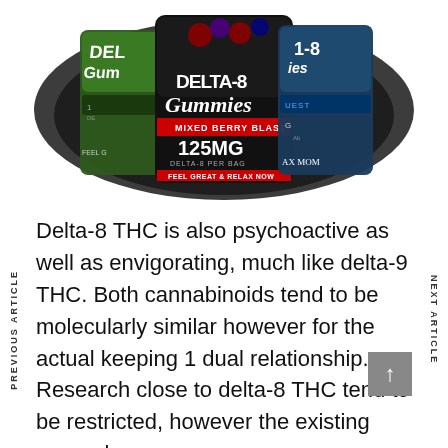[Figure (photo): Product image of Delta-8 Gummies Mixed Berry Blast 125MG Delta-8 per bag, multiple product packages shown]
Delta-8 THC is also psychoactive as well as envigorating, much like delta-9 THC. Both cannabinoids tend to be molecularly similar however for the actual keeping 1 dual relationship. Research close to delta-8 THC tend to be restricted, however the existing general